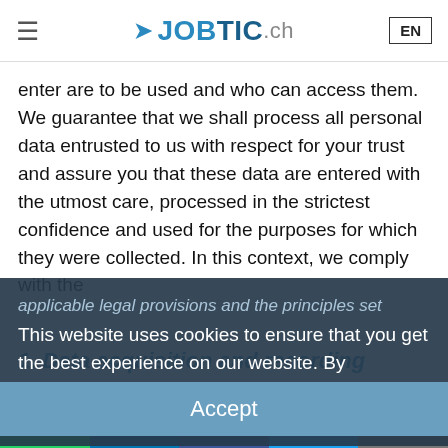JOBTIC.CH | EN
enter are to be used and who can access them. We guarantee that we shall process all personal data entrusted to us with respect for your trust and assure you that these data are entered with the utmost care, processed in the strictest confidence and used for the purposes for which they were collected. In this context, we comply with the applicable legal provisions and the principles set ... on the ... to their ... iples.
This website uses cookies to ensure that you get the best experience on our website. By continuing your navigation, you authorize us.
To find out more
1. Data acquisition and recording
Accept
1.1 Data entry